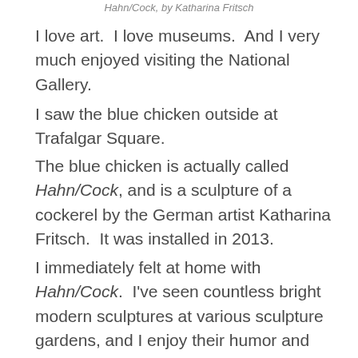Hahn/Cock, by Katharina Fritsch
I love art.  I love museums.  And I very much enjoyed visiting the National Gallery.
I saw the blue chicken outside at Trafalgar Square.
The blue chicken is actually called Hahn/Cock, and is a sculpture of a cockerel by the German artist Katharina Fritsch.  It was installed in 2013.
I immediately felt at home with Hahn/Cock.  I've seen countless bright modern sculptures at various sculpture gardens, and I enjoy their humor and incongruousness.